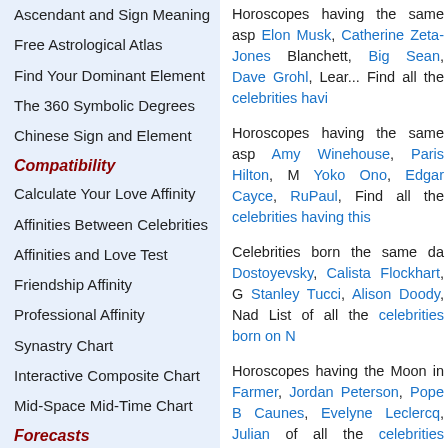Ascendant and Sign Meaning
Free Astrological Atlas
Find Your Dominant Element
The 360 Symbolic Degrees
Chinese Sign and Element
Compatibility
Calculate Your Love Affinity
Affinities Between Celebrities
Affinities and Love Test
Friendship Affinity
Professional Affinity
Synastry Chart
Interactive Composite Chart
Mid-Space Mid-Time Chart
Forecasts
Transits and Ephemerides
Free Solar Revolution
Secondary Directions
Horoscopes having the same asp Elon Musk, Catherine Zeta-Jones Blanchett, Big Sean, Dave Grohl, Lear... Find all the celebrities havi
Horoscopes having the same asp Amy Winehouse, Paris Hilton, M Yoko Ono, Edgar Cayce, RuPaul, Find all the celebrities having this
Celebrities born the same da Dostoyevsky, Calista Flockhart, G Stanley Tucci, Alison Doody, Nad List of all the celebrities born on N
Horoscopes having the Moon in Farmer, Jordan Peterson, Pope B Caunes, Evelyne Leclercq, Julian of all the celebrities having the Mo
Astrology DataBase o 62,300 people and events